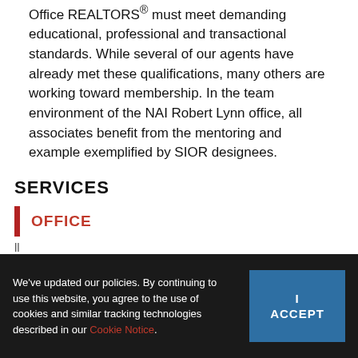Office REALTORS® must meet demanding educational, professional and transactional standards. While several of our agents have already met these qualifications, many others are working toward membership. In the team environment of the NAI Robert Lynn office, all associates benefit from the mentoring and example exemplified by SIOR designees.
SERVICES
OFFICE
We've updated our policies. By continuing to use this website, you agree to the use of cookies and similar tracking technologies described in our Cookie Notice.